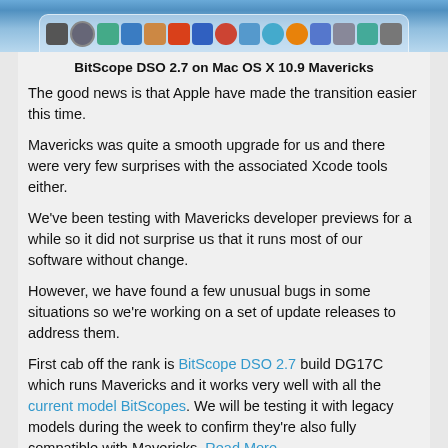[Figure (screenshot): Mac OS X Mavericks dock/menu bar screenshot showing colorful application icons in a dock at the bottom of a blue desktop background.]
BitScope DSO 2.7 on Mac OS X 10.9 Mavericks
The good news is that Apple have made the transition easier this time.
Mavericks was quite a smooth upgrade for us and there were very few surprises with the associated Xcode tools either.
We've been testing with Mavericks developer previews for a while so it did not surprise us that it runs most of our software without change.
However, we have found a few unusual bugs in some situations so we're working on a set of update releases to address them.
First cab off the rank is BitScope DSO 2.7 build DG17C which runs Mavericks and it works very well with all the current model BitScopes. We will be testing it with legacy models during the week to confirm they're also fully compatible with Mavericks. Read More...